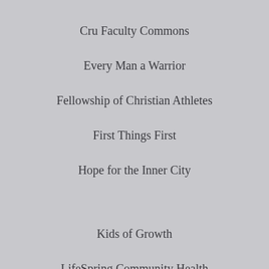Cru Faculty Commons
Every Man a Warrior
Fellowship of Christian Athletes
First Things First
Hope for the Inner City
Kids of Growth
LifeSpring Community Health
Lone Oak Health Clinic
Master's Meals